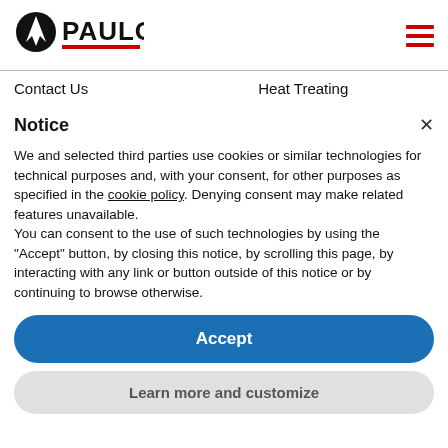PAULO (logo) | hamburger menu
Contact Us    Heat Treating
Notice
We and selected third parties use cookies or similar technologies for technical purposes and, with your consent, for other purposes as specified in the cookie policy. Denying consent may make related features unavailable.
You can consent to the use of such technologies by using the "Accept" button, by closing this notice, by scrolling this page, by interacting with any link or button outside of this notice or by continuing to browse otherwise.
Accept
Learn more and customize